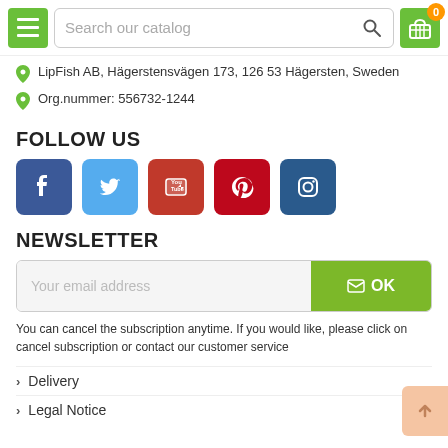Search our catalog — navigation bar with menu and cart
LipFish AB, Hägerstensvägen 173, 126 53 Hägersten, Sweden
Org.nummer: 556732-1244
FOLLOW US
[Figure (illustration): Social media icons: Facebook, Twitter, YouTube, Pinterest, Instagram]
NEWSLETTER
[Figure (other): Email input field with 'Your email address' placeholder and green OK button]
You can cancel the subscription anytime. If you would like, please click on cancel subscription or contact our customer service
Delivery
Legal Notice